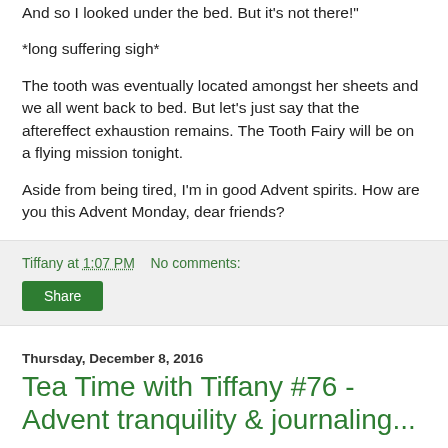And so I looked under the bed. But it's not there!"
*long suffering sigh*
The tooth was eventually located amongst her sheets and we all went back to bed. But let's just say that the aftereffect exhaustion remains. The Tooth Fairy will be on a flying mission tonight.
Aside from being tired, I'm in good Advent spirits. How are you this Advent Monday, dear friends?
Tiffany at 1:07 PM   No comments:
Share
Thursday, December 8, 2016
Tea Time with Tiffany #76 - Advent tranquility & journaling...